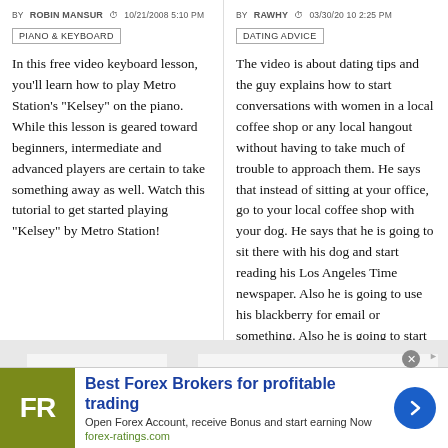BY ROBIN MANSUR  10/21/2008 5:10 PM
PIANO & KEYBOARD
In this free video keyboard lesson, you'll learn how to play Metro Station's "Kelsey" on the piano. While this lesson is geared toward beginners, intermediate and advanced players are certain to take something away as well. Watch this tutorial to get started playing "Kelsey" by Metro Station!
BY RAWHY  03/30/20 10 2:25 PM
DATING ADVICE
The video is about dating tips and the guy explains how to start conversations with women in a local coffee shop or any local hangout without having to take much of trouble to approach them. He says that instead of sitting at your office, go to your local coffee shop with your dog. He says that he is going to sit there with his dog and start reading his Los Angeles Time newspaper. Also he is going to use his blackberry for email or something. Also he is going to start looking around and he sa...
[Figure (other): Advertisement banner: Best Forex Brokers for profitable trading. FR logo on olive/green background. Blue arrow button on right.]